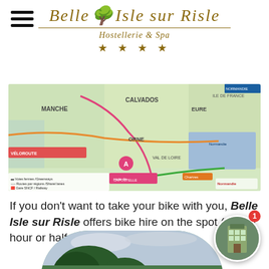[Figure (logo): Belle Isle sur Risle Hostellerie & Spa logo with tree icon and four gold stars]
[Figure (map): Regional cycling route map showing Normandy region with colored routes including Manche, Calvados, Eure departments, and a legend]
If you don't want to take your bike with you, Belle Isle sur Risle offers bike hire on the spot (by the hour or half-day)
[Figure (photo): Circular/arch shaped photo of trees and landscape with a notification thumbnail in the bottom right corner showing a building exterior]